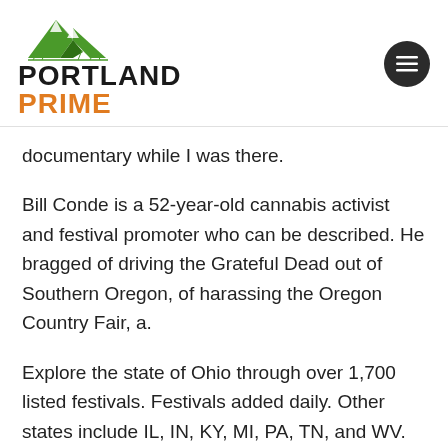[Figure (logo): Portland Prime logo with mountain illustration above text. 'PORTLAND' in black bold uppercase, 'PRIME' in orange bold uppercase.]
[Figure (other): Dark circular menu button with three horizontal white lines (hamburger icon)]
documentary while I was there.
Bill Conde is a 52-year-old cannabis activist and festival promoter who can be described. He bragged of driving the Grateful Dead out of Southern Oregon, of harassing the Oregon Country Fair, a.
Explore the state of Ohio through over 1,700 listed festivals. Festivals added daily. Other states include IL, IN, KY, MI, PA, TN, and WV.